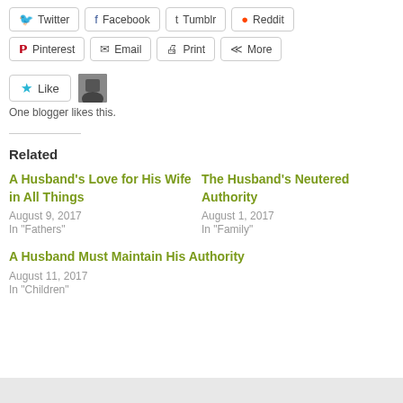[Figure (screenshot): Social share buttons row 1: Twitter, Facebook, Tumblr, Reddit]
[Figure (screenshot): Social share buttons row 2: Pinterest, Email, Print, More]
[Figure (screenshot): Like button with star icon and avatar thumbnail]
One blogger likes this.
Related
A Husband's Love for His Wife in All Things
August 9, 2017
In "Fathers"
The Husband's Neutered Authority
August 1, 2017
In "Family"
A Husband Must Maintain His Authority
August 11, 2017
In "Children"